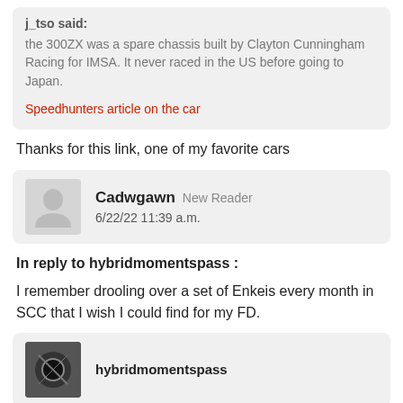j_tso said: the 300ZX was a spare chassis built by Clayton Cunningham Racing for IMSA. It never raced in the US before going to Japan. Speedhunters article on the car
Thanks for this link, one of my favorite cars
Cadwgawn New Reader 6/22/22 11:39 a.m.
In reply to hybridmomentspass :
I remember drooling over a set of Enkeis every month in SCC that I wish I could find for my FD.
hybridmomentspass